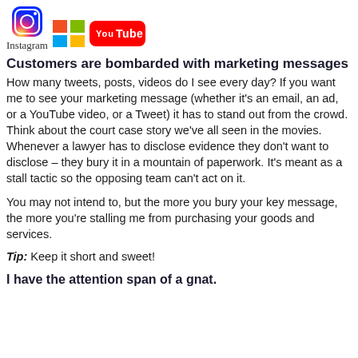[Figure (logo): Instagram logo with camera icon and text, Windows/Microsoft logo grid, YouTube logo]
Customers are bombarded with marketing messages
How many tweets, posts, videos do I see every day? If you want me to see your marketing message (whether it's an email, an ad, or a YouTube video, or a Tweet) it has to stand out from the crowd. Think about the court case story we've all seen in the movies. Whenever a lawyer has to disclose evidence they don't want to disclose – they bury it in a mountain of paperwork. It's meant as a stall tactic so the opposing team can't act on it.
You may not intend to, but the more you bury your key message, the more you're stalling me from purchasing your goods and services.
Tip: Keep it short and sweet!
I have the attention span of a gnat.